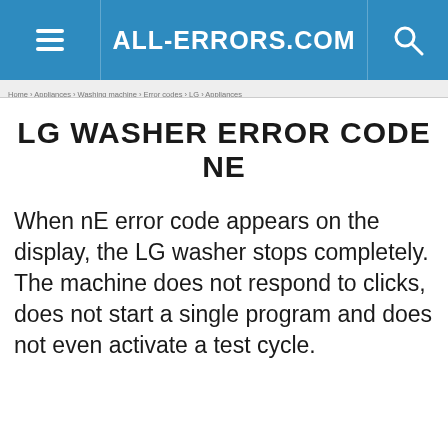ALL-ERRORS.COM
LG WASHER ERROR CODE NE
When nE error code appears on the display, the LG washer stops completely. The machine does not respond to clicks, does not start a single program and does not even activate a test cycle.